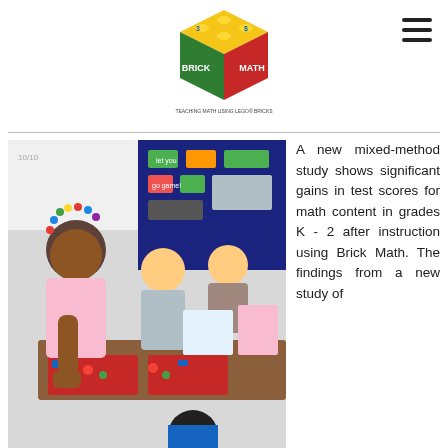[Figure (logo): Brick Math logo — a colorful cube with math symbols and text 'BRICK MATH, TEACHING MATH USING LEGO BRICKS']
[Figure (photo): Children in a classroom working with colorful LEGO brick trays on a table, with a teacher guiding them. A bulletin board is visible in the background.]
A new mixed-method study shows significant gains in test scores for math content in grades K - 2 after instruction using Brick Math. The findings from a new study of